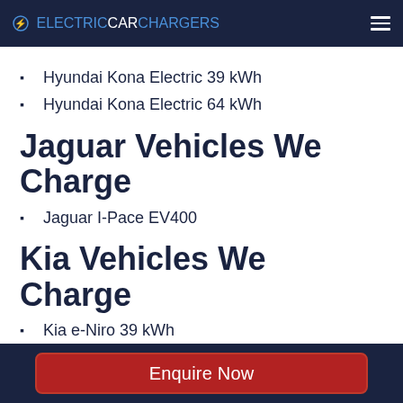ELECTRICCARCHARGERS
Hyundai Kona Electric 39 kWh
Hyundai Kona Electric 64 kWh
Jaguar Vehicles We Charge
Jaguar I-Pace EV400
Kia Vehicles We Charge
Kia e-Niro 39 kWh
Kia e-Niro 64 kWh
Kia EV6 GT
Kia EV6 Long Range 2WD
Kia EV6 Long Range AWD
Enquire Now